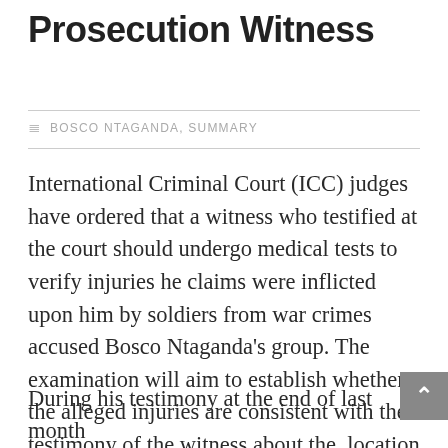Prosecution Witness
BOSCO NTAGANDA, SUMMARY
International Criminal Court (ICC) judges have ordered that a witness who testified at the court should undergo medical tests to verify injuries he claims were inflicted upon him by soldiers from war crimes accused Bosco Ntaganda's group. The examination will aim to establish whether the alleged injuries are consistent with the testimony of the witness about the  location of the injury, its cause, and approximate date when it occurred.
During his testimony at the end of last month